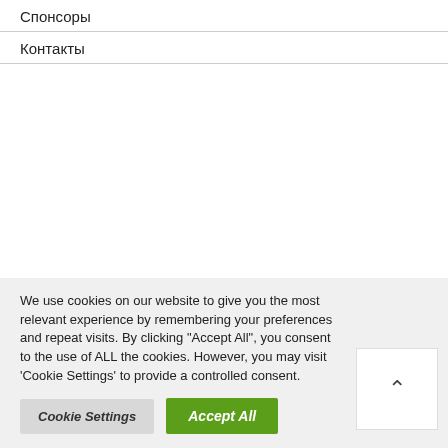Спонсоры
Контакты
We use cookies on our website to give you the most relevant experience by remembering your preferences and repeat visits. By clicking "Accept All", you consent to the use of ALL the cookies. However, you may visit 'Cookie Settings' to provide a controlled consent.
Cookie Settings | Accept All